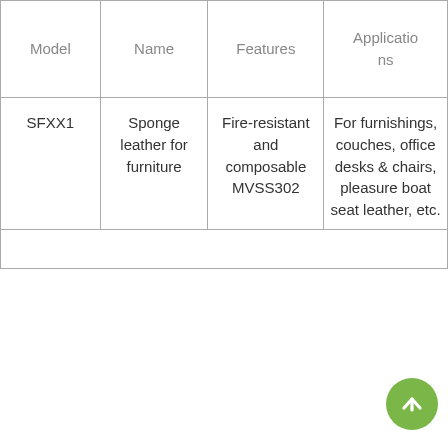| Model | Name | Features | Applications |
| --- | --- | --- | --- |
| SFXX1 | Sponge leather for furniture | Fire-resistant and composable MVSS302 | For furnishings, couches, office desks & chairs, pleasure boat seat leather, etc. |